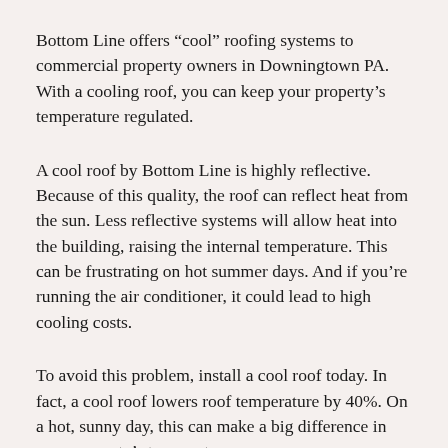Bottom Line offers “cool” roofing systems to commercial property owners in Downingtown PA. With a cooling roof, you can keep your property’s temperature regulated.
A cool roof by Bottom Line is highly reflective. Because of this quality, the roof can reflect heat from the sun. Less reflective systems will allow heat into the building, raising the internal temperature. This can be frustrating on hot summer days. And if you’re running the air conditioner, it could lead to high cooling costs.
To avoid this problem, install a cool roof today. In fact, a cool roof lowers roof temperature by 40%. On a hot, sunny day, this can make a big difference in your property’s temperature.